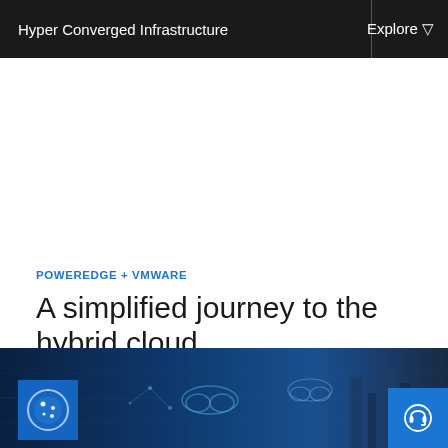Hyper Converged Infrastructure
Explore ▽
POWEREDGE + VMWARE
A simplified journey to the hybrid cloud
Modernize your IT with virtualization options that put you in control.
Explore —
[Figure (photo): Blue-toned data center / cloud technology banner image at the bottom of the page, with network and cloud icons overlaid]